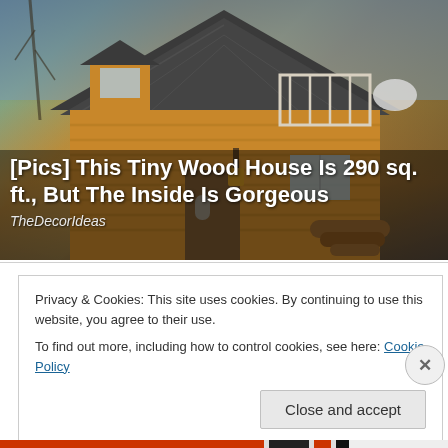[Figure (photo): Photo of a small wooden house with a steep dark shingled roof, log cabin style walls, a balcony with white railing, and a lantern hanging outside. Winter setting with bare trees.]
[Pics] This Tiny Wood House Is 290 sq. ft., But The Inside Is Gorgeous
TheDecorIdeas
Privacy & Cookies: This site uses cookies. By continuing to use this website, you agree to their use.
To find out more, including how to control cookies, see here: Cookie Policy